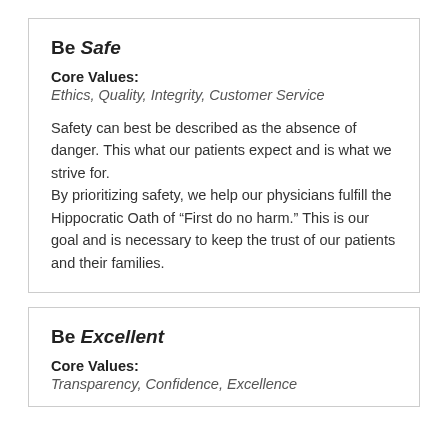Be Safe
Core Values:
Ethics, Quality, Integrity, Customer Service
Safety can best be described as the absence of danger. This what our patients expect and is what we strive for.
By prioritizing safety, we help our physicians fulfill the Hippocratic Oath of “First do no harm.” This is our goal and is necessary to keep the trust of our patients and their families.
Be Excellent
Core Values:
Transparency, Confidence, Excellence